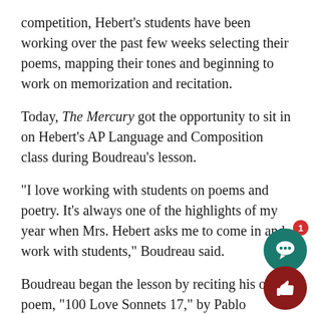competition, Hebert's students have been working over the past few weeks selecting their poems, mapping their tones and beginning to work on memorization and recitation.
Today, The Mercury got the opportunity to sit in on Hebert's AP Language and Composition class during Boudreau's lesson.
“I love working with students on poems and poetry. It’s always one of the highlights of my year when Mrs. Hebert asks me to come in and work with students,” Boudreau said.
Boudreau began the lesson by reciting his own poem, “100 Love Sonnets 17,” by Pablo Neruda, translated by Robert Bly. Afterward, he asked students what they thought he did well while reciting.